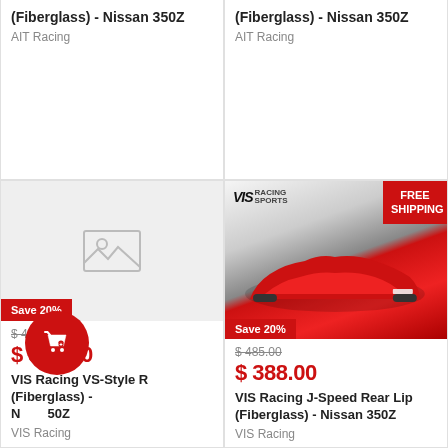Rear Bumper (Fiberglass) - Nissan 350Z
AIT Racing
Rear Bumper (Fiberglass) - Nissan 350Z
AIT Racing
[Figure (photo): Placeholder image with mountain/photo icon on gray background. Save 20% badge at bottom left.]
$ 446.25
$ 357.00
VIS Racing VS-Style R(Fiberglass) - N 50Z
VIS Racing
[Figure (photo): Product photo of red Nissan 350Z sports car with VIS Racing logo and FREE SHIPPING badge. Save 20% badge at bottom left.]
$ 485.00
$ 388.00
VIS Racing J-Speed Rear Lip (Fiberglass) - Nissan 350Z
VIS Racing